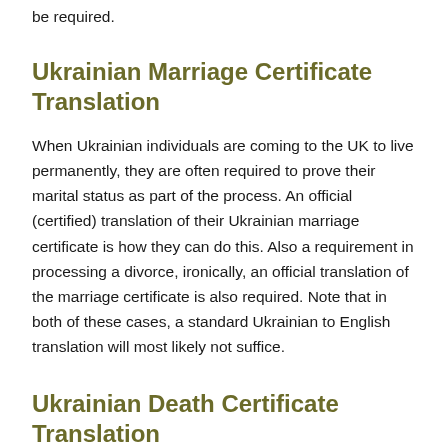be required.
Ukrainian Marriage Certificate Translation
When Ukrainian individuals are coming to the UK to live permanently, they are often required to prove their marital status as part of the process. An official (certified) translation of their Ukrainian marriage certificate is how they can do this. Also a requirement in processing a divorce, ironically, an official translation of the marriage certificate is also required. Note that in both of these cases, a standard Ukrainian to English translation will most likely not suffice.
Ukrainian Death Certificate Translation
Prior to the execution of a will in Edinburgh, and throughout the UK, there are several types of documents that must be provided as part of the process. In the event that the death has occurred outside of the UK, in Ukrainian-speaking countries, an official translation of the Ukrainian death